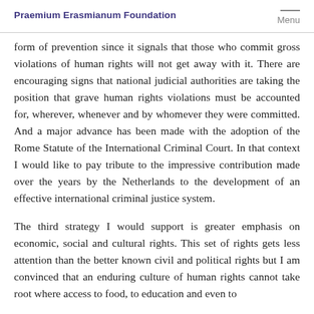Praemium Erasmianum Foundation | Menu
form of prevention since it signals that those who commit gross violations of human rights will not get away with it. There are encouraging signs that national judicial authorities are taking the position that grave human rights violations must be accounted for, wherever, whenever and by whomever they were committed. And a major advance has been made with the adoption of the Rome Statute of the International Criminal Court. In that context I would like to pay tribute to the impressive contribution made over the years by the Netherlands to the development of an effective international criminal justice system.
The third strategy I would support is greater emphasis on economic, social and cultural rights. This set of rights gets less attention than the better known civil and political rights but I am convinced that an enduring culture of human rights cannot take root where access to food, to education and even to